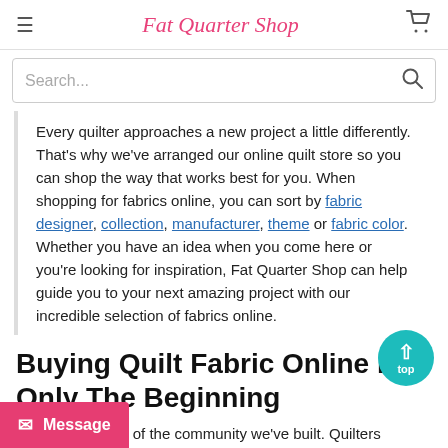Fat Quarter Shop
Search...
Every quilter approaches a new project a little differently. That's why we've arranged our online quilt store so you can shop the way that works best for you. When shopping for fabrics online, you can sort by fabric designer, collection, manufacturer, theme or fabric color. Whether you have an idea when you come here or you're looking for inspiration, Fat Quarter Shop can help guide you to your next amazing project with our incredible selection of fabrics online.
Buying Quilt Fabric Online Is Only The Beginning
Shop is proud of the community we've built. Quilters come to us for the quilting fabric and stay for the